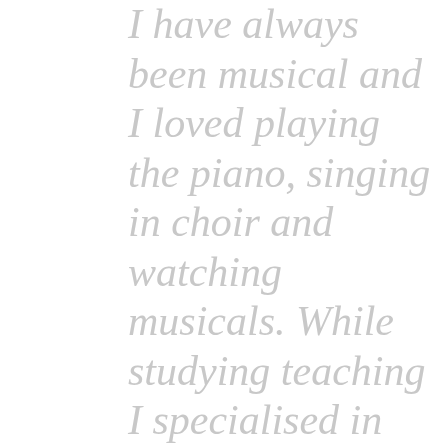I have always been musical and I loved playing the piano, singing in choir and watching musicals. While studying teaching I specialised in music and found myself performing piano recitals and analysing romantic miniatures. I fell in love with teaching music to children and spent fifteen years devoted to this. My creativity and entrepreneurial streak took me further and over a decade I created a music scheme for schools which I trained others in and sold around the world.

While this was happening, I married my lovely husband Erik and we had our first child. Then, at the age of two, something happened. Philip